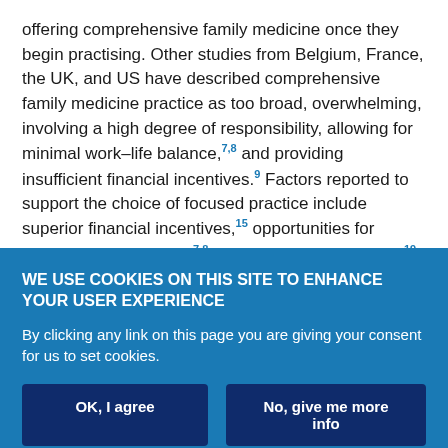offering comprehensive family medicine once they begin practising. Other studies from Belgium, France, the UK, and US have described comprehensive family medicine practice as too broad, overwhelming, involving a high degree of responsibility, allowing for minimal work–life balance,7,8 and providing insufficient financial incentives.9 Factors reported to support the choice of focused practice include superior financial incentives,15 opportunities for intellectual stimulation,7,8 greater work-life balance,19 reduced stress from a lower workload,7 community needs,19 and prior training exposures.19,33 This current study confirms these findings. FPs in Canada and the US have reported feeling unprepared to deliver
WE USE COOKIES ON THIS SITE TO ENHANCE YOUR USER EXPERIENCE
By clicking any link on this page you are giving your consent for us to set cookies.
OK, I agree
No, give me more info